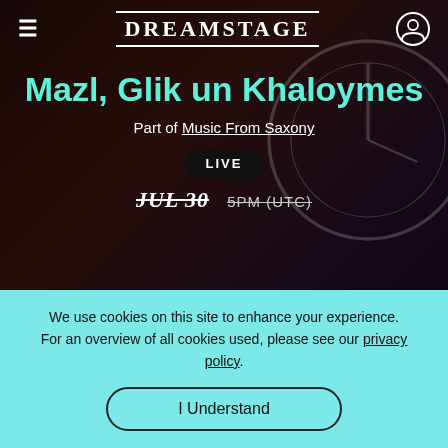DREAMSTAGE
Mazl, Glik un Khaloymes
Part of Music From Saxony
LIVE
JUL 30  5PM (UTC)
We use cookies on this site to enhance your experience. For an overview of all cookies used, please see our privacy policy.
I Understand